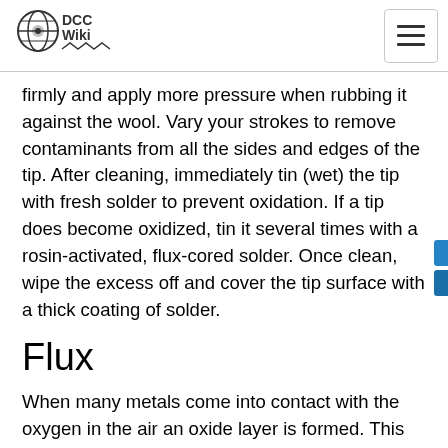DCC Wiki
firmly and apply more pressure when rubbing it against the wool. Vary your strokes to remove contaminants from all the sides and edges of the tip. After cleaning, immediately tin (wet) the tip with fresh solder to prevent oxidation. If a tip does become oxidized, tin it several times with a rosin-activated, flux-cored solder. Once clean, wipe the excess off and cover the tip surface with a thick coating of solder.
Flux
When many metals come into contact with the oxygen in the air an oxide layer is formed. This